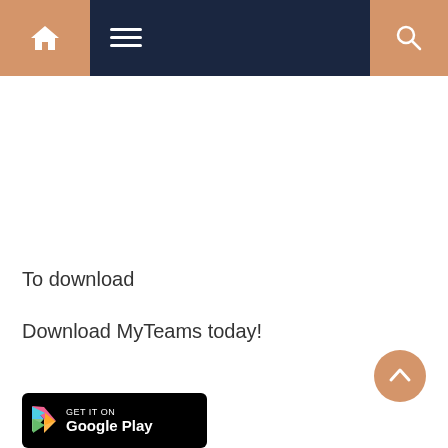[Figure (screenshot): Navigation bar with home icon on left (tan/orange background), hamburger menu icon in center (dark navy background), and search icon on right (tan/orange background)]
To download
Download MyTeams today!
[Figure (other): Scroll-to-top circular button with upward chevron arrow, tan/orange colored]
[Figure (other): Google Play Store badge with play icon, GET IT ON text above Google Play text, black background]